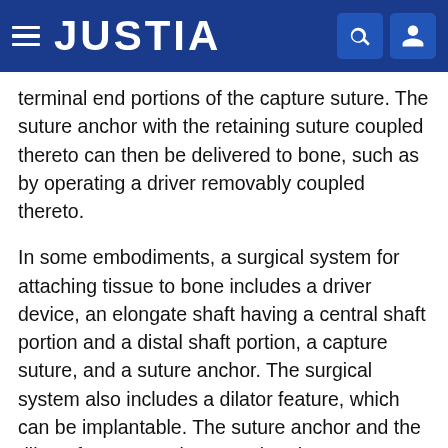JUSTIA
terminal end portions of the capture suture. The suture anchor with the retaining suture coupled thereto can then be delivered to bone, such as by operating a driver removably coupled thereto.
In some embodiments, a surgical system for attaching tissue to bone includes a driver device, an elongate shaft having a central shaft portion and a distal shaft portion, a capture suture, and a suture anchor. The surgical system also includes a dilator feature, which can be implantable. The suture anchor and the dilator feature can be cannulated.
The driver device has a proximal handle and a driver shaft extending from the handle. The driver shaft can have a shoulder proximal to a distal driver member, and a lumen extending through the driver shaft. The